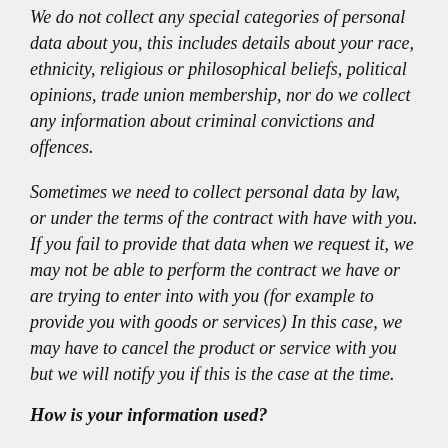We do not collect any special categories of personal data about you, this includes details about your race, ethnicity, religious or philosophical beliefs, political opinions, trade union membership, nor do we collect any information about criminal convictions and offences.
Sometimes we need to collect personal data by law, or under the terms of the contract with have with you. If you fail to provide that data when we request it, we may not be able to perform the contract we have or are trying to enter into with you (for example to provide you with goods or services) In this case, we may have to cancel the product or service with you but we will notify you if this is the case at the time.
How is your information used?